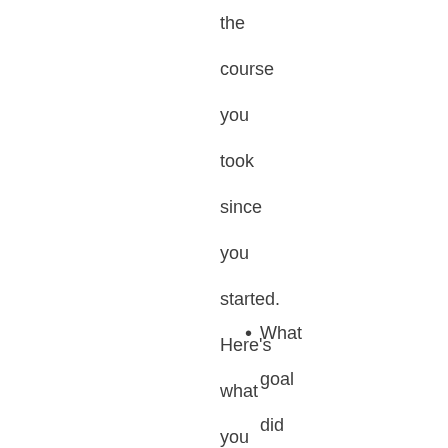the course you took since you started. Here's what you are looking for:
What goal did I set for myself at the